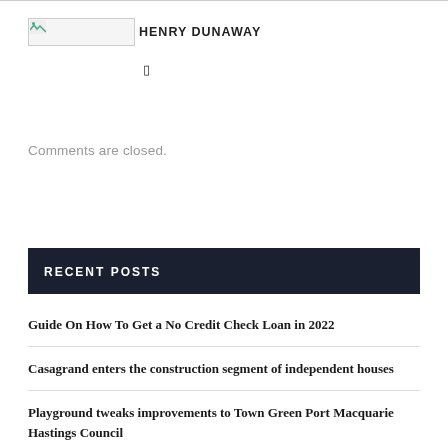[Figure (photo): Author avatar placeholder image with broken image icon]
HENRY DUNAWAY
▯
Comments are closed.
RECENT POSTS
Guide On How To Get a No Credit Check Loan in 2022
Casagrand enters the construction segment of independent houses
Playground tweaks improvements to Town Green Port Macquarie Hastings Council